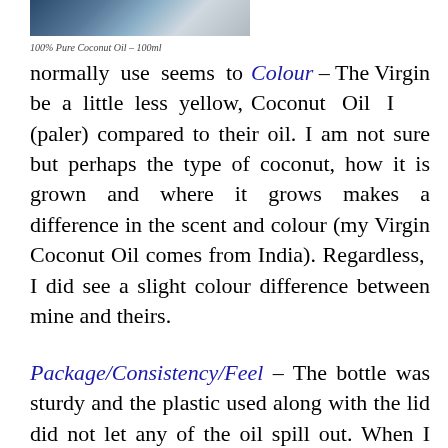[Figure (photo): Partial photo of a product, appears to show a person or animal against a light background]
100% Pure Coconut Oil – 100ml
Colour – The Virgin Coconut Oil I normally use seems to be a little less yellow, (paler) compared to their oil. I am not sure but perhaps the type of coconut, how it is grown and where it grows makes a difference in the scent and colour (my Virgin Coconut Oil comes from India). Regardless, I did see a slight colour difference between mine and theirs.
Package/Consistency/Feel – The bottle was sturdy and the plastic used along with the lid did not let any of the oil spill out. When I first received the oil, the